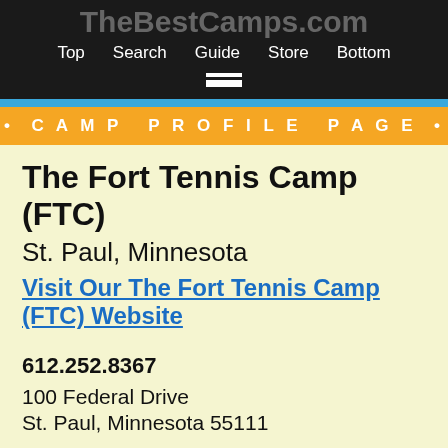TheBestCamps.com — Top Search Guide Store Bottom
• CAMP PROFILE PAGE •
The Fort Tennis Camp (FTC)
St. Paul, Minnesota
Visit Our The Fort Tennis Camp (FTC) Website
612.252.8367
100 Federal Drive
St. Paul, Minnesota 55111
CAMPER AGES: 9-14
TYPE OF CAMP: Day Camp, Weekdays 10am